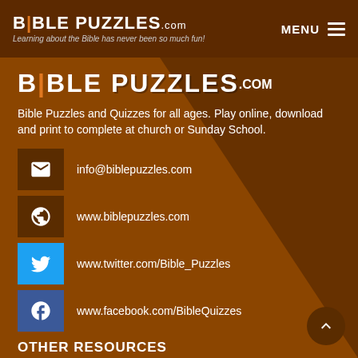BIBLE PUZZLES.com — Learning about the Bible has never been so much fun! | MENU
BIBLE PUZZLES.com
Bible Puzzles and Quizzes for all ages. Play online, download and print to complete at church or Sunday School.
info@biblepuzzles.com
www.biblepuzzles.com
www.twitter.com/Bible_Puzzles
www.facebook.com/BibleQuizzes
OTHER RESOURCES
BIBLE TRIVIA QUIZ
Over 140 Bible quizzes for you to try, interactive and